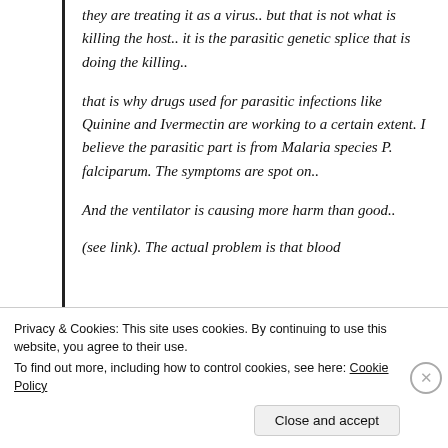they are treating it as a virus.. but that is not what is killing the host.. it is the parasitic genetic splice that is doing the killing..
that is why drugs used for parasitic infections like Quinine and Ivermectin are working to a certain extent. I believe the parasitic part is from Malaria species P. falciparum. The symptoms are spot on..
And the ventilator is causing more harm than good..
(see link). The actual problem is that blood
Privacy & Cookies: This site uses cookies. By continuing to use this website, you agree to their use.
To find out more, including how to control cookies, see here: Cookie Policy
Close and accept